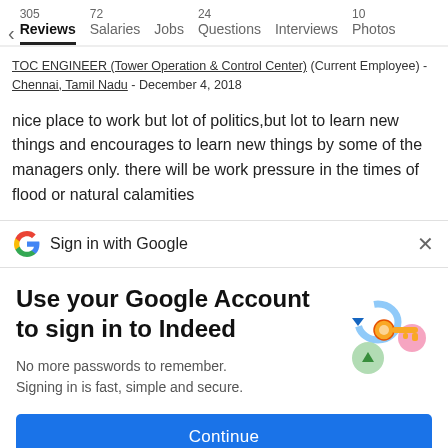305 Reviews  72 Salaries  Jobs  24 Questions  Interviews  10 Photos
TOC ENGINEER (Tower Operation & Control Center) (Current Employee) - Chennai, Tamil Nadu - December 4, 2018
nice place to work but lot of politics,but lot to learn new things and encourages to learn new things by some of the managers only. there will be work pressure in the times of flood or natural calamities
Sign in with Google
Use your Google Account to sign in to Indeed
No more passwords to remember.
Signing in is fast, simple and secure.
Continue